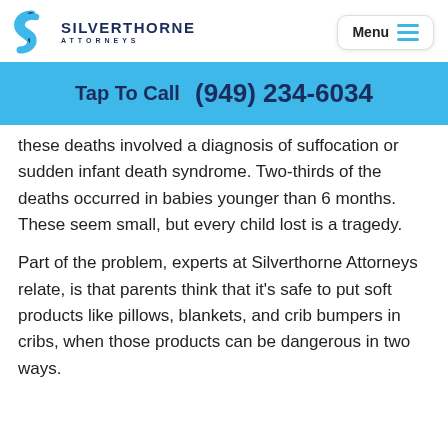SILVERTHORNE ATTORNEYS | Menu
Tap To Call  (949) 234-6034
these deaths involved a diagnosis of suffocation or sudden infant death syndrome. Two-thirds of the deaths occurred in babies younger than 6 months. These seem small, but every child lost is a tragedy.
Part of the problem, experts at Silverthorne Attorneys relate, is that parents think that it's safe to put soft products like pillows, blankets, and crib bumpers in cribs, when those products can be dangerous in two ways.